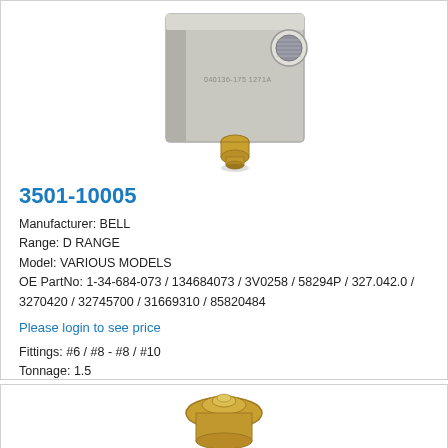[Figure (photo): Photograph of a metallic block-shaped fitting or valve component (part 3501-10005) with a threaded port on the side and a brass fitting at the bottom. Text stamped on the block reads: 040136-175 1271A]
3501-10005
Manufacturer: BELL
Range: D RANGE
Model: VARIOUS MODELS
OE PartNo: 1-34-684-073 / 134684073 / 3V0258 / 58294P / 327.042.0 / 3270420 / 32745700 / 31669310 / 85820484
Please login to see price
Fittings: #6 / #8 - #8 / #10
Tonnage: 1.5
[Figure (photo): Partial photograph of a brass/gold-colored rounded component (possibly a valve or cap) at the bottom of the page, cropped.]